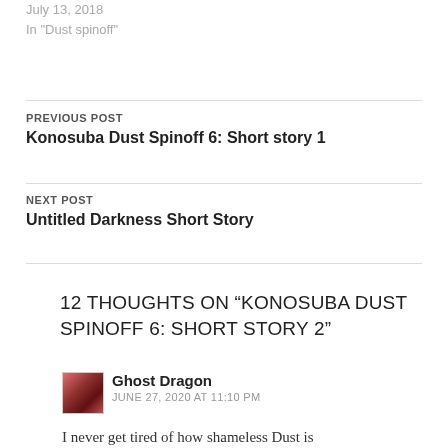July 13, 2018
In "Dust spinoff"
PREVIOUS POST
Konosuba Dust Spinoff 6: Short story 1
NEXT POST
Untitled Darkness Short Story
12 THOUGHTS ON “KONOSUBA DUST SPINOFF 6: SHORT STORY 2”
Ghost Dragon
JUNE 27, 2020 AT 11:10 PM
I never get tired of how shameless Dust is